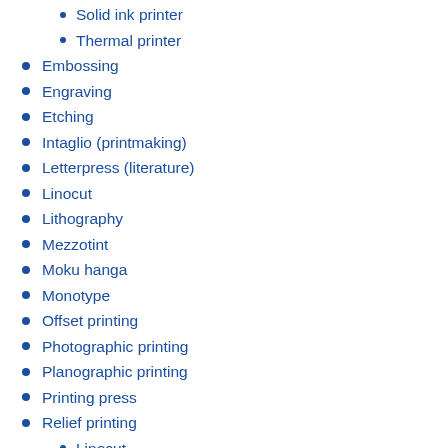Solid ink printer
Thermal printer
Embossing
Engraving
Etching
Intaglio (printmaking)
Letterpress (literature)
Linocut
Lithography
Mezzotint
Moku hanga
Monotype
Offset printing
Photographic printing
Planographic printing
Printing press
Relief printing
Linocut
Metalcut